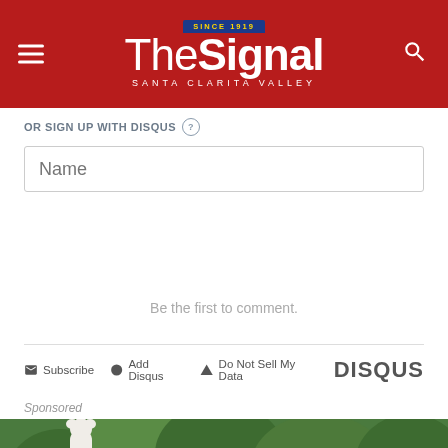The Signal – Santa Clarita Valley
OR SIGN UP WITH DISQUS
Name
Be the first to comment.
Subscribe  Add Disqus  Do Not Sell My Data  DISQUS
Sponsored
[Figure (photo): Photograph of two cats outdoors against a green hedge background — one white cat with paw raised, one tabby cat looking down]